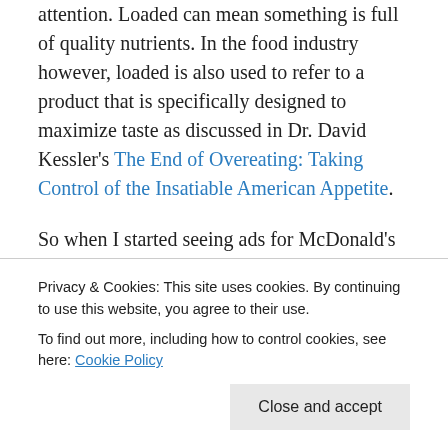attention. Loaded can mean something is full of quality nutrients. In the food industry however, loaded is also used to refer to a product that is specifically designed to maximize taste as discussed in Dr. David Kessler's The End of Overeating: Taking Control of the Insatiable American Appetite.
So when I started seeing ads for McDonald's new Fruit and Maple oatmeal, I confess that my eyes rolled a bit. This is part of the ongoing effort in the food industry to push out "healthy" food alternatives. After all, what's
Privacy & Cookies: This site uses cookies. By continuing to use this website, you agree to their use. To find out more, including how to control cookies, see here: Cookie Policy
even the calorie count is reasonable. With everything